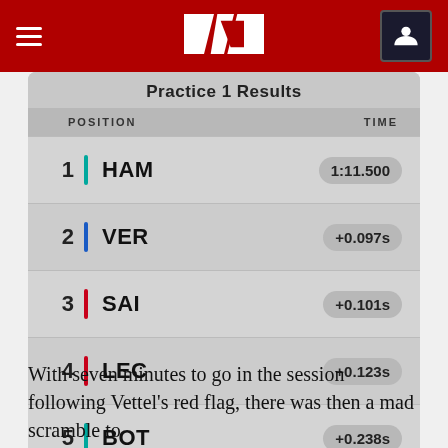F1 Navigation Bar
Practice 1 Results
| POSITION | TIME |
| --- | --- |
| 1  HAM | 1:11.500 |
| 2  VER | +0.097s |
| 3  SAI | +0.101s |
| 4  LEC | +0.123s |
| 5  BOT | +0.238s |
VIEW FULL RESULTS
With seven minutes to go in the session following Vettel's red flag, there was then a mad scramble to